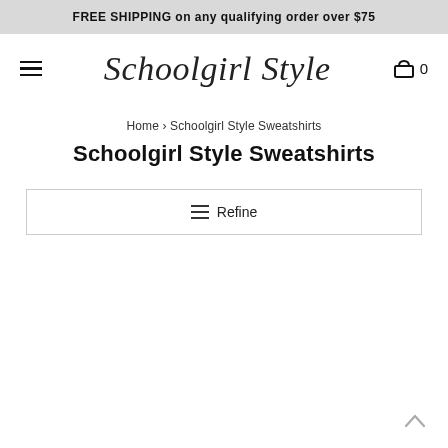FREE SHIPPING on any qualifying order over $75
[Figure (logo): Schoolgirl Style script logo with hamburger menu on left and cart icon with 0 on right]
Home › Schoolgirl Style Sweatshirts
Schoolgirl Style Sweatshirts
☰ Refine